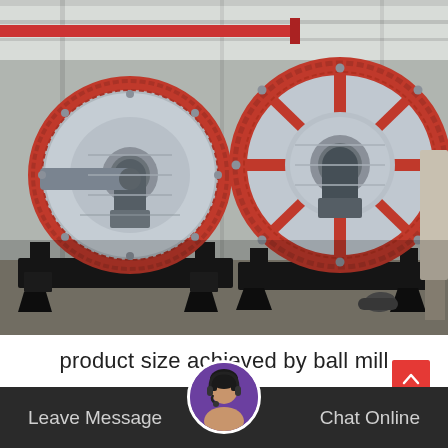[Figure (photo): Industrial ball mills in a factory/warehouse setting. Two large cylindrical grinding mills with large red gear rings (ring gears) are shown side by side on black heavy-duty bases. The mills are painted light gray and the ring gears are red. The factory interior shows overhead cranes, steel framework, and other industrial equipment in the background.]
product size achieved by ball mill
Leave Message   Chat Online